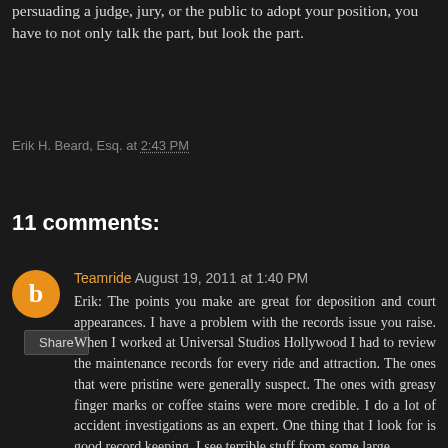persuading a judge, jury, or the public to adopt your position, you have to not only talk the part, but look the part.
Erik H. Beard, Esq. at 2:43 PM
Share
11 comments:
Teamride August 19, 2011 at 1:40 PM
Erik: The points you make are great for deposition and court appearances. I have a problem with the records issue you raise. When I worked at Universal Studios Hollywood I had to review the maintenance records for every ride and attraction. The ones that were pristine were generally suspect. The ones with greasy finger marks or coffee stains were more credible. I do a lot of accident investigations as an expert. One thing that I look for is good record keeping. I see terrible stuff from some large